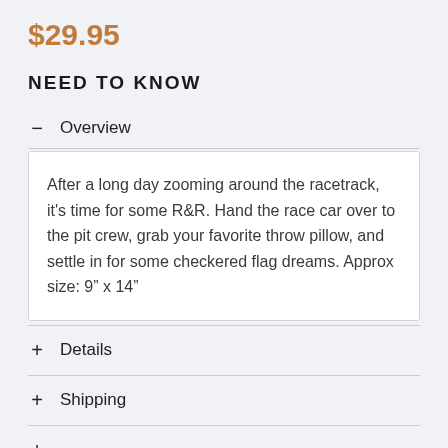$29.95
NEED TO KNOW
— Overview
After a long day zooming around the racetrack, it's time for some R&R. Hand the race car over to the pit crew, grab your favorite throw pillow, and settle in for some checkered flag dreams. Approx size: 9" x 14"
+ Details
+ Shipping
+